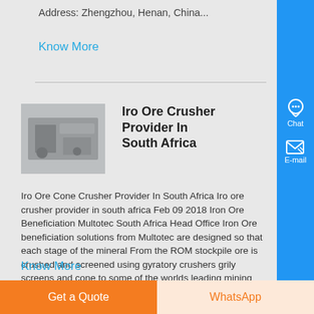Address: Zhengzhou, Henan, China...
Know More
Iro Ore Crusher Provider In South Africa
[Figure (photo): Industrial machinery/crusher equipment photo]
Iro Ore Cone Crusher Provider In South Africa Iro ore crusher provider in south africa Feb 09 2018 Iron Ore Beneficiation Multotec South Africa Head Office Iron Ore beneficiation solutions from Multotec are designed so that each stage of the mineral From the ROM stockpile ore is crushed and screened using gyratory crushers grily screens and cone to some of the worlds leading mining ,...
Know More
Get a Quote
WhatsApp